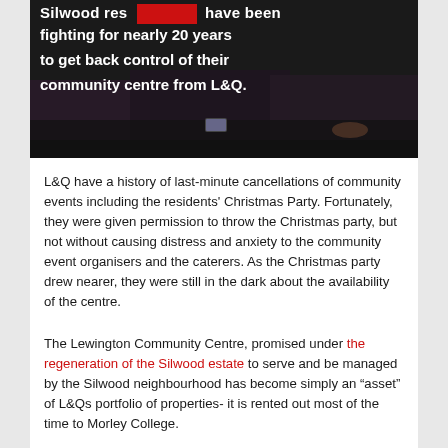[Figure (photo): A video thumbnail showing people seated at a table in a dark setting, with white text overlay reading: 'Silwood res[redacted] have been fighting for nearly 20 years to get back control of their community centre from L&Q.' A red rectangle partially obscures one word.]
L&Q have a history of last-minute cancellations of community events including the residents' Christmas Party. Fortunately, they were given permission to throw the Christmas party, but not without causing distress and anxiety to the community event organisers and the caterers. As the Christmas party drew nearer, they were still in the dark about the availability of the centre.
The Lewington Community Centre, promised under the regeneration of the Silwood estate to serve and be managed by the Silwood neighbourhood has become simply an "asset" of L&Qs portfolio of properties- it is rented out most of the time to Morley College.